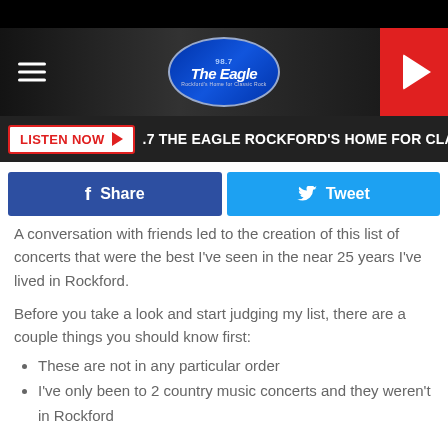[Figure (screenshot): 98.7 The Eagle radio station website header with logo, hamburger menu, and red play button]
LISTEN NOW ▶  .7 THE EAGLE ROCKFORD'S HOME FOR CLASSIC ROC
[Figure (screenshot): Facebook Share and Twitter Tweet social media buttons]
A conversation with friends led to the creation of this list of concerts that were the best I've seen in the near 25 years I've lived in Rockford.
Before you take a look and start judging my list, there are a couple things you should know first:
These are not in any particular order
I've only been to 2 country music concerts and they weren't in Rockford